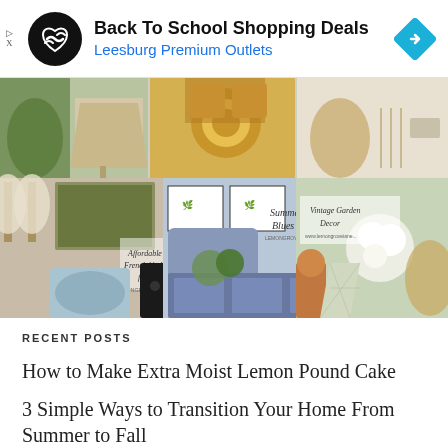[Figure (screenshot): Advertisement banner for Back To School Shopping Deals at Leesburg Premium Outlets, with circular black logo with infinity-style arrows, bold title text, blue subtitle, and blue diamond navigation arrow icon on right.]
[Figure (photo): Grid collage of home decor mood board images: lampshades, brass hardware, wicker chair, wall sconces, artwork, French kitchen finds, summer blues decor, vintage garden decor boards.]
RECENT POSTS
How to Make Extra Moist Lemon Pound Cake
3 Simple Ways to Transition Your Home From Summer to Fall
How to Create a Cozy Fall Table